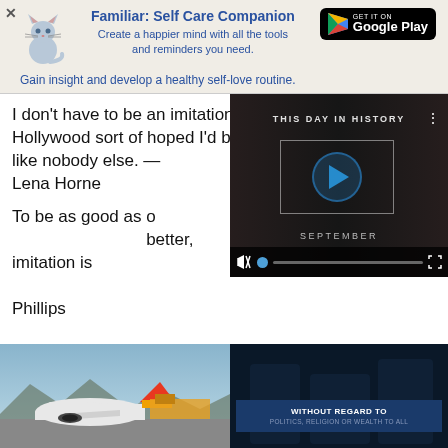[Figure (infographic): App advertisement banner for 'Familiar: Self Care Companion' with cat logo, tagline, and Google Play button]
I don't have to be an imitation of a white woman that Hollywood sort of hoped I'd become. I'm me, and I'm like nobody else. — Lena Horne
[Figure (screenshot): Video widget showing 'THIS DAY IN HISTORY' with play button, SEPTEMBER label, and playback controls]
To be as good as our mothers we must be better, imitation is not discipleship. — Wendell Phillips
[Figure (photo): Airplane on tarmac with cargo being loaded]
[Figure (infographic): Dark blue panel with text 'WITHOUT REGARD TO POLITICS, RELIGION OR WEALTH TO ALL']